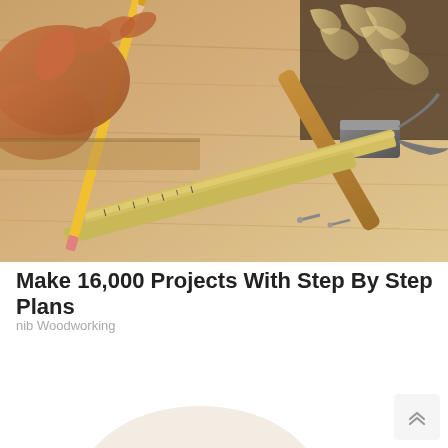[Figure (photo): Hands holding a pencil and measuring tape on a wooden surface, with a claw hammer, wood shavings, and nails nearby — woodworking tools on a workbench]
Make 16,000 Projects With Step By Step Plans
nib Woodworking
[Figure (photo): Partial view of a person and a red diagonal graphic element at the bottom of the page, with a scroll-to-top button (double chevron up icon) in the bottom right corner]